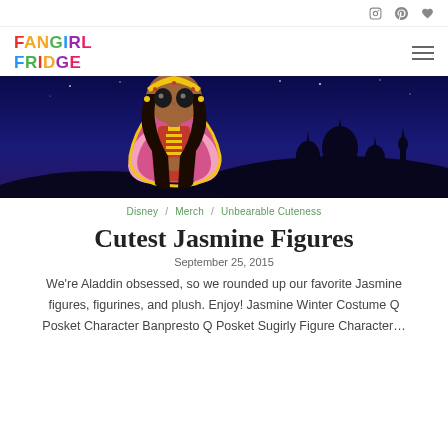FANGIRL FRIDGE
[Figure (photo): A Funko Pop figure of Princess Jasmine in a pink and gold outfit, with a nighttime Agrabah skyline silhouette in the background.]
Disney / Merch / Unbearable Cuteness
Cutest Jasmine Figures
September 25, 2015
We're Aladdin obsessed, so we rounded up our favorite Jasmine figures, figurines, and plush. Enjoy! Jasmine Winter Costume Q Posket Character Banpresto Q Posket Sugirly Figure Character ...